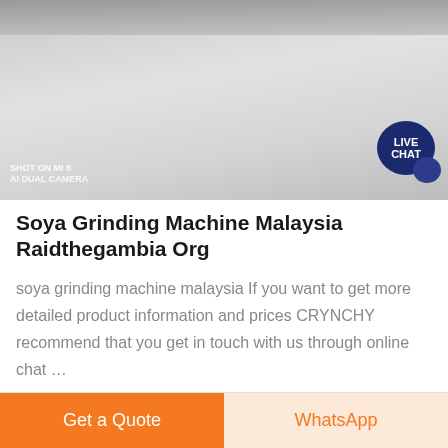[Figure (photo): Aerial or ground-level photo of a large open sandy/gravelly area with trucks visible in the upper portion. Watermark reads 'SHOT ON MI 8 AI DUAL CAMERA'.]
Soya Grinding Machine Malaysia Raidthegambia Org
soya grinding machine malaysia If you want to get more detailed product information and prices CRYNCHY recommend that you get in touch with us through online chat ...
Get a Quote
WhatsApp